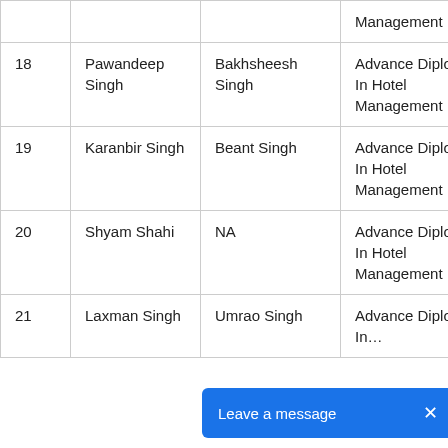| # | Name | Father's Name | Course | Place |
| --- | --- | --- | --- | --- |
|  |  |  | Management |  |
| 18 | Pawandeep Singh | Bakhsheesh Singh | Advance Diploma In Hotel Management | Gol Uda… |
| 19 | Karanbir Singh | Beant Singh | Advance Diploma In Hotel Management | Con & S Am… |
| 20 | Shyam Shahi | NA | Advance Diploma In Hotel Management | NA |
| 21 | Laxman Singh | Umrao Singh | Advance Diploma In Hotel Management | Lem He… |